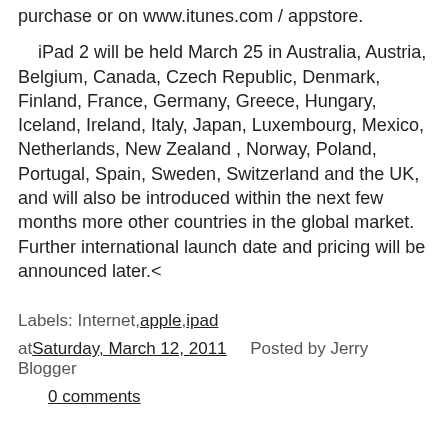purchase or on www.itunes.com / appstore.
iPad 2 will be held March 25 in Australia, Austria, Belgium, Canada, Czech Republic, Denmark, Finland, France, Germany, Greece, Hungary, Iceland, Ireland, Italy, Japan, Luxembourg, Mexico, Netherlands, New Zealand , Norway, Poland, Portugal, Spain, Sweden, Switzerland and the UK, and will also be introduced within the next few months more other countries in the global market. Further international launch date and pricing will be announced later.<
Labels: Internet,apple,ipad
at Saturday, March 12, 2011   Posted by Jerry Blogger
0 comments
THURSDAY, MARCH 10, 2011
A tiny PE3 Winbuilder project